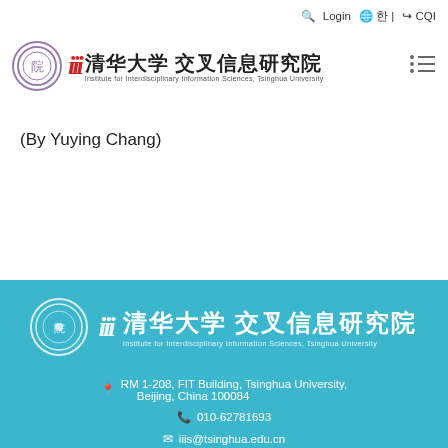Login | CQI
[Figure (logo): Tsinghua University Institute for Interdisciplinary Information Sciences logo with Chinese characters in header]
(By Yuying Chang)
[Figure (logo): Tsinghua University IIIS logo in white on teal background]
RM 1-208, FIT Building, Tsinghua University, Beijing, China 100084
010-62781693
iiis@tsinghua.edu.cn
Copyright@IIIS, Tsinghua University. All Rights Reserved.